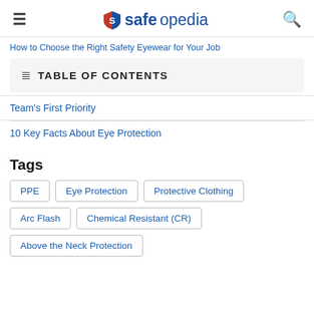≡ safeopedia 🔍
How to Choose the Right Safety Eyewear for Your Job
TABLE OF CONTENTS
Team's First Priority
10 Key Facts About Eye Protection
Tags
PPE
Eye Protection
Protective Clothing
Arc Flash
Chemical Resistant (CR)
Above the Neck Protection